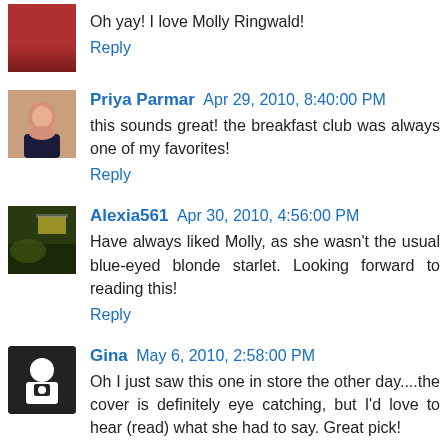Oh yay! I love Molly Ringwald!
Reply
Priya Parmar  Apr 29, 2010, 8:40:00 PM
this sounds great! the breakfast club was always one of my favorites!
Reply
Alexia561  Apr 30, 2010, 4:56:00 PM
Have always liked Molly, as she wasn't the usual blue-eyed blonde starlet. Looking forward to reading this!
Reply
Gina  May 6, 2010, 2:58:00 PM
Oh I just saw this one in store the other day....the cover is definitely eye catching, but I'd love to hear (read) what she had to say. Great pick!